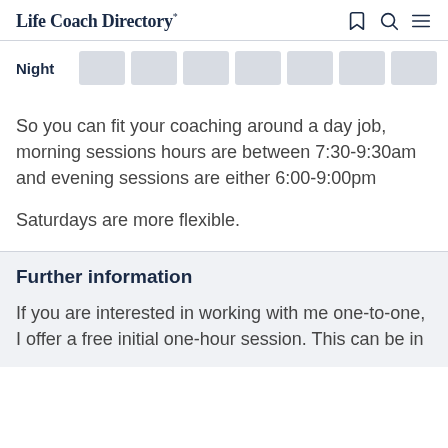Life Coach Directory
Night
So you can fit your coaching around a day job, morning sessions hours are between 7:30-9:30am and evening sessions are either 6:00-9:00pm
Saturdays are more flexible.
Further information
If you are interested in working with me one-to-one, I offer a free initial one-hour session. This can be in